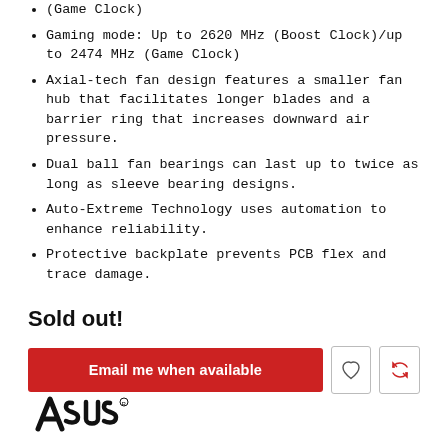(Game Clock)
Gaming mode: Up to 2620 MHz (Boost Clock)/up to 2474 MHz (Game Clock)
Axial-tech fan design features a smaller fan hub that facilitates longer blades and a barrier ring that increases downward air pressure.
Dual ball fan bearings can last up to twice as long as sleeve bearing designs.
Auto-Extreme Technology uses automation to enhance reliability.
Protective backplate prevents PCB flex and trace damage.
Sold out!
[Figure (other): Red 'Email me when available' button with heart icon button and refresh icon button]
[Figure (logo): ASUS logo in black with registered trademark symbol]